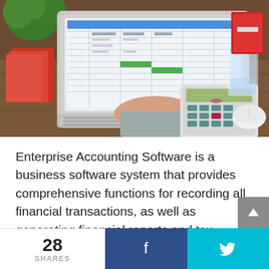[Figure (photo): Person using a calculator at a desk with a laptop open showing spreadsheet software, a glass of water, and office supplies on a wooden desk.]
Enterprise Accounting Software is a business software system that provides comprehensive functions for recording all financial transactions, as well as generating financial reports and tax returns.
28 SHARES  [Facebook share button]  [Twitter share button]